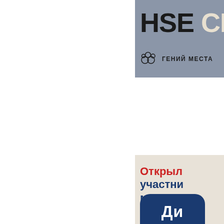[Figure (logo): HSE CREATIVE logo banner with grey background. Shows 'HSE CRE...' text in large bold font (HSE in black, CREATIVE in cream/beige). Below is a bubble cluster icon followed by 'ГЕНИЙ МЕСТА' text.]
[Figure (infographic): Beige/cream card with Russian text. First line 'Открыл...' in red, then 'участни...', 'междун...', 'Единой' in dark blue. Bottom has a large dark navy rounded rectangle shape with white Cyrillic text 'Ди...'.]